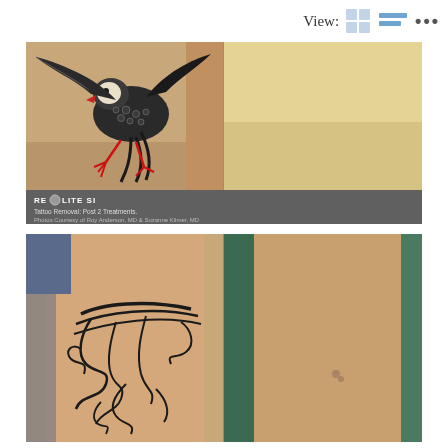[Figure (other): UI view toggle controls showing 'View:' label with a grid icon (blue/light squares) and a dots/more icon]
[Figure (photo): Before-and-after tattoo removal photos. Left side: eagle tattoo (black, detailed with red beak/claws) on skin. Right side: same area after treatment showing clear skin (pale yellow/beige tone). Gray caption bar at bottom: 'REOLITE SI — Tattoo Removal: Post 2 Treatments. Photos Courtesy of Roy Anderson, MD & Suzanne Kilmer, MD']
[Figure (photo): Before-and-after tattoo removal on wrist. Left side: wrist showing tribal/script black tattoo. Right side: same wrist after treatment showing nearly clear skin with slight residual marks, green background visible.]